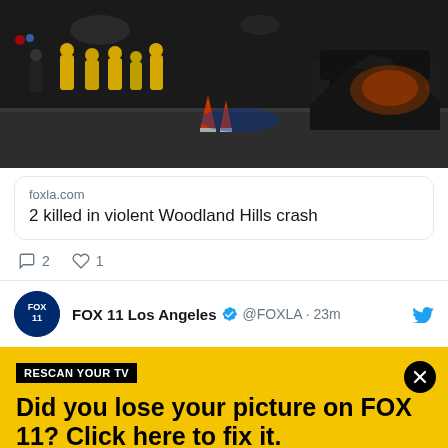[Figure (photo): Crime scene photo showing a violent car crash at night with firefighters in yellow gear and a severely damaged/burned vehicle on the right]
foxla.com
2 killed in violent Woodland Hills crash
2  1
FOX 11 Los Angeles @FOXLA · 23m
RESCAN YOUR TV
Did you lose your picture on FOX 11? Click here to fix it.
You will need to rescan your television set on August 24, 2022 in order to continue receiving our broadcast. Tap for details on how to rescan your TV.